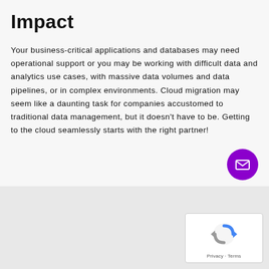Impact
Your business-critical applications and databases may need operational support or you may be working with difficult data and analytics use cases, with massive data volumes and data pipelines, or in complex environments. Cloud migration may seem like a daunting task for companies accustomed to traditional data management, but it doesn’t have to be. Getting to the cloud seamlessly starts with the right partner!
[Figure (illustration): Purple circular email/contact button with envelope icon]
[Figure (illustration): Google reCAPTCHA widget with rotating arrows logo and Privacy - Terms text]